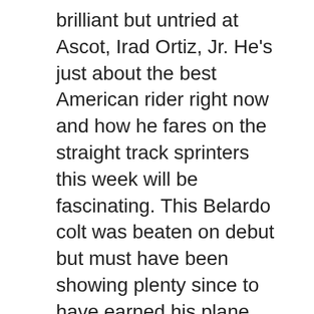brilliant but untried at Ascot, Irad Ortiz, Jr. He's just about the best American rider right now and how he fares on the straight track sprinters this week will be fascinating. This Belardo colt was beaten on debut but must have been showing plenty since to have earned his plane ticket, with his sire faring much better than many expected: he has a couple of juvenile Group race winners on his roster already (Elysium and Isabella Giles) as well as Lullaby Moon, who won the Listed Two-Year-Old Trophy at Redcar in 2020. QED, Belardo can get fast two-year-olds. And so can Wes. A player, though I always wonder about Ward speedballs in the final 100 yards.
There are loads of rapid unexposed babies in opposition, as is the Windsor Castle wont. Let's rattle through a few of them, starting with Little Big Bear, the favourite. He didn't quite get home over six furlongs on debut and, with that experience behind him, was an emphatic three length scorer on his only subsequent run when dropped back to this range. By